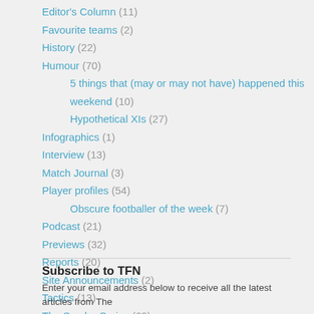Editor's Column (11)
Favourite teams (2)
History (22)
Humour (70)
5 things that (may or may not have) happened this weekend (10)
Hypothetical XIs (27)
Infographics (1)
Interview (13)
Match Journal (3)
Player profiles (54)
Obscure footballer of the week (7)
Podcast (21)
Previews (32)
Reports (20)
Site Announcements (2)
Tactics (13)
The Samba Series (69)
The State of the Game (4)
World Cup 2014 (8)
Subscribe to TFN
Enter your email address below to receive all the latest articles from The